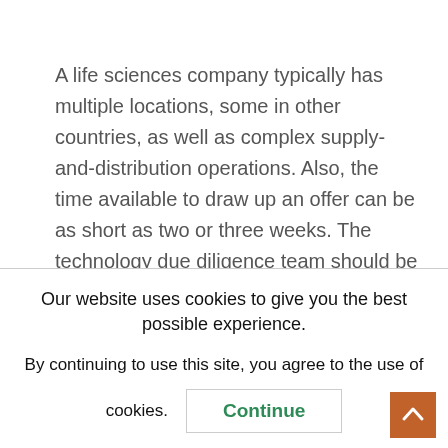A life sciences company typically has multiple locations, some in other countries, as well as complex supply-and-distribution operations. Also, the time available to draw up an offer can be as short as two or three weeks. The technology due diligence team should be structured to be quick in getting real-world answers to fundamental questions. This means including experts who can look at limited data and draw reasonable
Our website uses cookies to give you the best possible experience.
By continuing to use this site, you agree to the use of cookies.
Continue